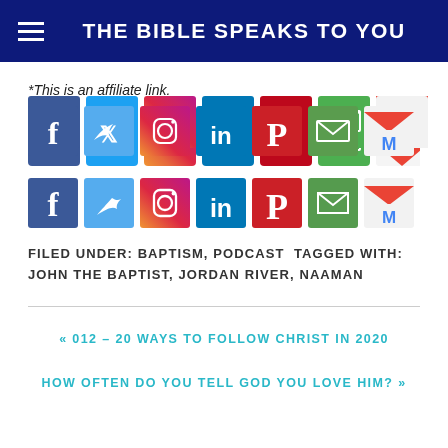THE BIBLE SPEAKS TO YOU
*This is an affiliate link.
[Figure (infographic): Row of social sharing icons: Facebook (blue), Twitter (light blue), Instagram (gradient), LinkedIn (dark blue), Pinterest (red), Email (green), Gmail (red/white M), More/Plus (orange)]
FILED UNDER: BAPTISM, PODCAST TAGGED WITH: JOHN THE BAPTIST, JORDAN RIVER, NAAMAN
« 012 – 20 WAYS TO FOLLOW CHRIST IN 2020
HOW OFTEN DO YOU TELL GOD YOU LOVE HIM? »